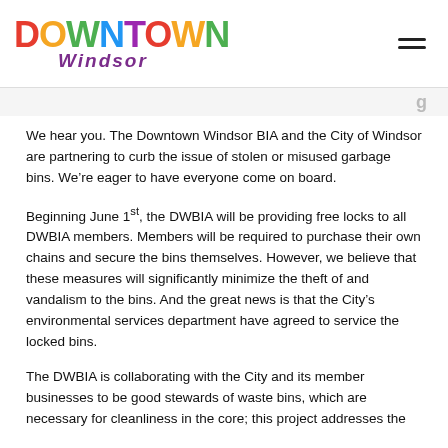Downtown Windsor logo and navigation
We hear you. The Downtown Windsor BIA and the City of Windsor are partnering to curb the issue of stolen or misused garbage bins. We’re eager to have everyone come on board.
Beginning June 1st, the DWBIA will be providing free locks to all DWBIA members. Members will be required to purchase their own chains and secure the bins themselves. However, we believe that these measures will significantly minimize the theft of and vandalism to the bins. And the great news is that the City’s environmental services department have agreed to service the locked bins.
The DWBIA is collaborating with the City and its member businesses to be good stewards of waste bins, which are necessary for cleanliness in the core; this project addresses the